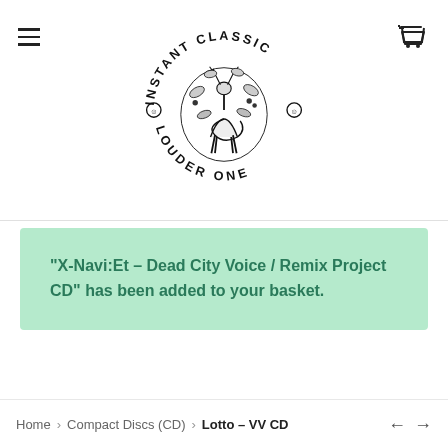Instant Classic Louder One — logo header with hamburger menu and cart icon
“X-Navi:Et – Dead City Voice / Remix Project CD” has been added to your basket.
Home > Compact Discs (CD) > Lotto – VV CD